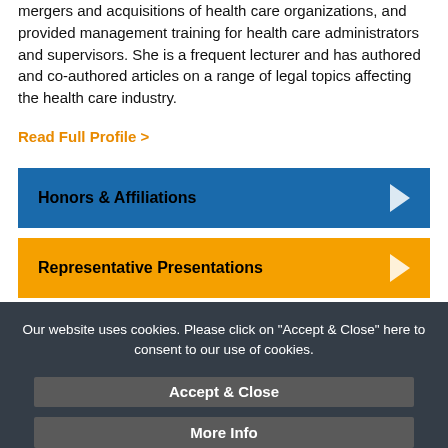mergers and acquisitions of health care organizations, and provided management training for health care administrators and supervisors. She is a frequent lecturer and has authored and co-authored articles on a range of legal topics affecting the health care industry.
Read Full Profile >
Honors & Affiliations
Representative Presentations
Our website uses cookies. Please click on "Accept & Close" here to consent to our use of cookies.
Accept & Close
More Info